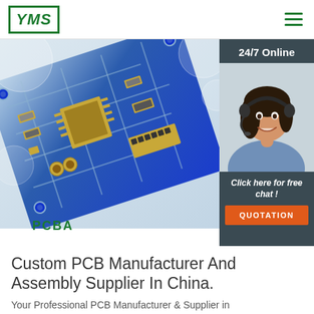[Figure (logo): YMS logo in green border box with italic bold text]
[Figure (photo): Blue PCB circuit board close-up with components, labeled PCBA at bottom left; right side shows a 24/7 online chat widget with a female customer service agent wearing headset, 'Click here for free chat!' text, and orange QUOTATION button]
Custom PCB Manufacturer And Assembly Supplier In China.
Your Professional PCB Manufacturer & Supplier in